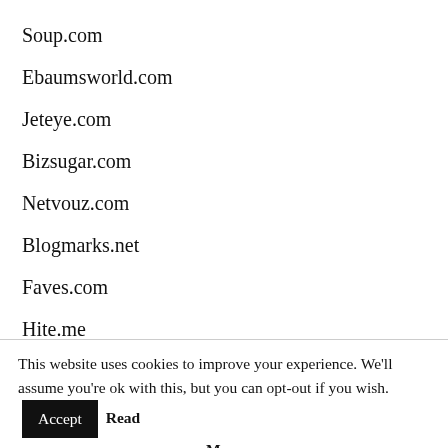Soup.com
Ebaumsworld.com
Jeteye.com
Bizsugar.com
Netvouz.com
Blogmarks.net
Faves.com
Hite.me
This website uses cookies to improve your experience. We'll assume you're ok with this, but you can opt-out if you wish. Accept Read More